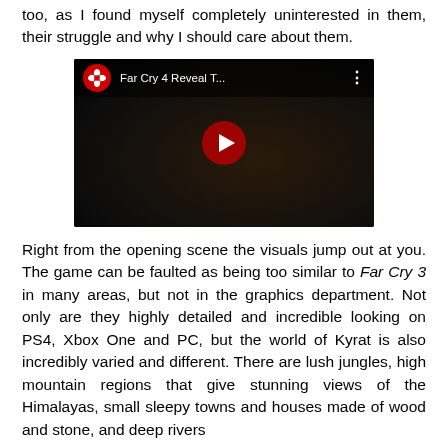too, as I found myself completely uninterested in them, their struggle and why I should care about them.
[Figure (screenshot): Embedded YouTube video thumbnail for 'Far Cry 4 Reveal T...' showing a dark scene with a YouTube player UI overlay including the YouTube logo, video title, play button, and options menu dots.]
Right from the opening scene the visuals jump out at you. The game can be faulted as being too similar to Far Cry 3 in many areas, but not in the graphics department. Not only are they highly detailed and incredible looking on PS4, Xbox One and PC, but the world of Kyrat is also incredibly varied and different. There are lush jungles, high mountain regions that give stunning views of the Himalayas, small sleepy towns and houses made of wood and stone, and deep rivers